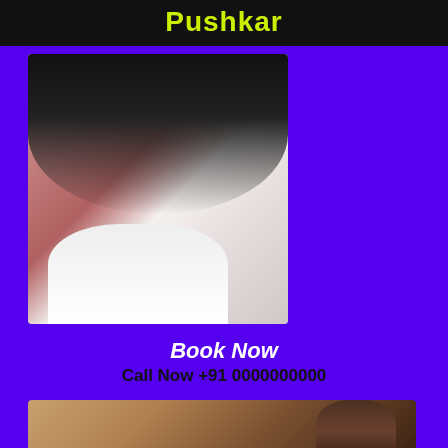Pushkar
[Figure (photo): Portrait photo of a woman with long dark wavy hair, red lipstick, wearing a white dress, posed against a light background]
Book Now
Call Now +91 0000000000
[Figure (photo): Partial photo of another person, cropped at bottom of page, showing top of head with dark hair against wooden background]